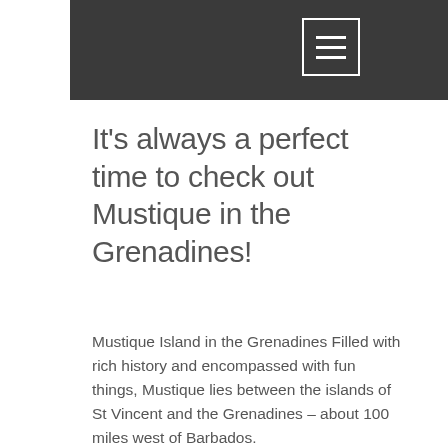[Figure (screenshot): Dark grey navigation header bar with hamburger menu icon (three white horizontal lines) inside a white-bordered rectangle, positioned top right]
It's always a perfect time to check out Mustique in the Grenadines!
Mustique Island in the Grenadines Filled with rich history and encompassed with fun things, Mustique lies between the islands of St Vincent and the Grenadines – about 100 miles west of Barbados.
The islands here has delicate atmosphere and blessed with natural